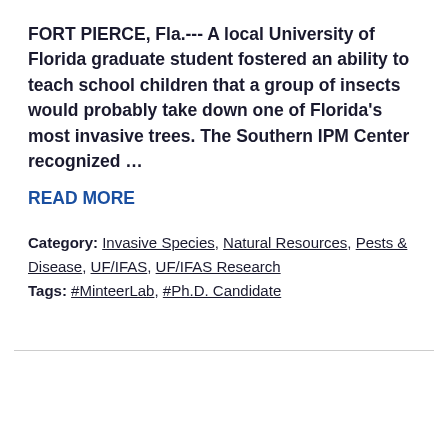FORT PIERCE, Fla.--- A local University of Florida graduate student fostered an ability to teach school children that a group of insects would probably take down one of Florida's most invasive trees. The Southern IPM Center recognized …
READ MORE
Category: Invasive Species, Natural Resources, Pests & Disease, UF/IFAS, UF/IFAS Research
Tags: #MinteerLab, #Ph.D. Candidate